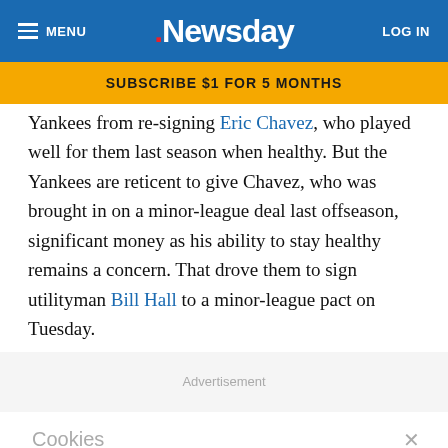MENU | Newsday | LOG IN
SUBSCRIBE $1 FOR 5 MONTHS
Yankees from re-signing Eric Chavez, who played well for them last season when healthy. But the Yankees are reticent to give Chavez, who was brought in on a minor-league deal last offseason, significant money as his ability to stay healthy remains a concern. That drove them to sign utilityman Bill Hall to a minor-league pact on Tuesday.
Advertisement
Cookies
By continuing to use our site, you agree to our Terms of Service and Privacy Policy. You can learn more about how we use cookies by reviewing our Pri...
[Figure (screenshot): LI LAW advertisement banner: Need Legal Advice? Click to View]